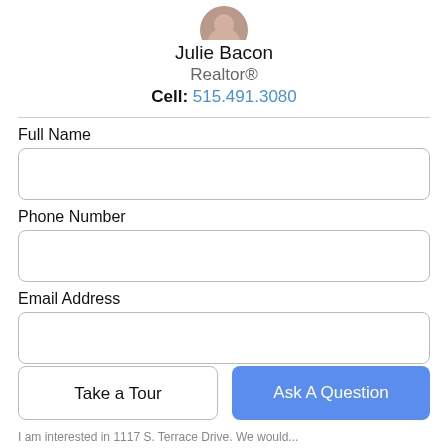[Figure (photo): Circular profile photo of Julie Bacon, partially cropped at top]
Julie Bacon
Realtor®
Cell: 515.491.3080
Full Name
Phone Number
Email Address
Take a Tour
Ask A Question
I am interested in 1117 S. Terrace Drive. We would...